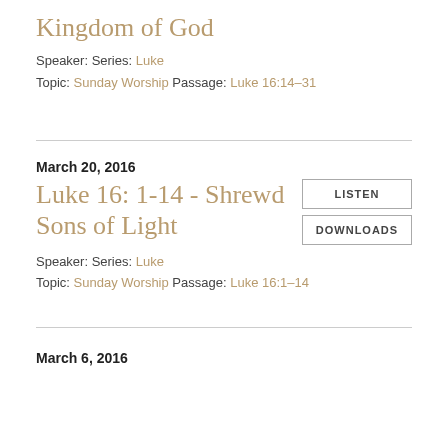Kingdom of God
Speaker: Series: Luke
Topic: Sunday Worship Passage: Luke 16:14–31
March 20, 2016
Luke 16: 1-14 - Shrewd Sons of Light
LISTEN
DOWNLOADS
Speaker: Series: Luke
Topic: Sunday Worship Passage: Luke 16:1–14
March 6, 2016